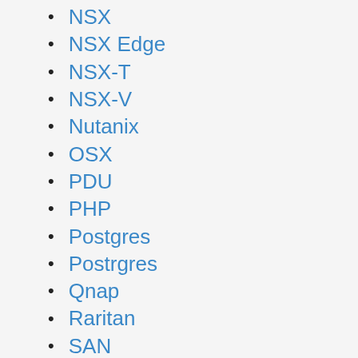NSX
NSX Edge
NSX-T
NSX-V
Nutanix
OSX
PDU
PHP
Postgres
Postrgres
Qnap
Raritan
SAN
security
Sonicwall
SSL